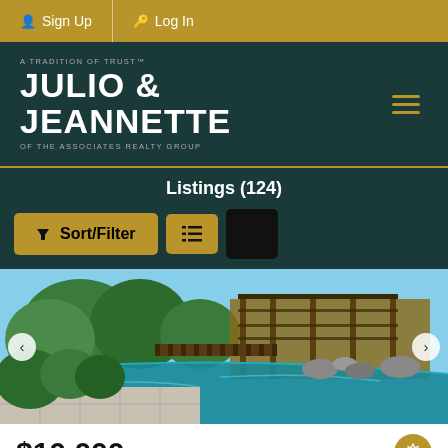Sign Up  Log In
[Figure (logo): Julio & Jeannette of The Associates Realty Group logo on dark teal background with hamburger menu icon]
Listings (124)
[Figure (screenshot): Sort/Filter button and list view toggle buttons on dark background]
[Figure (photo): Property photo showing a swimming pool with wooden bridge, rocks, and lush greenery with a deck structure in background]
$10,000
19791 Sieding Drive